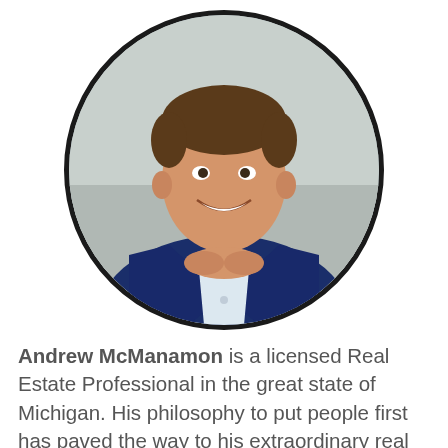[Figure (photo): Circular cropped portrait photo of Andrew McManamon, a young man in a navy blue blazer and white shirt, smiling, with hands clasped, seated against a light neutral background. The circle has a thick black border.]
Andrew McManamon is a licensed Real Estate Professional in the great state of Michigan. His philosophy to put people first has paved the way to his extraordinary real estate career. Born and raised in Brighton, MI, Andrew acquired a bachelors degree